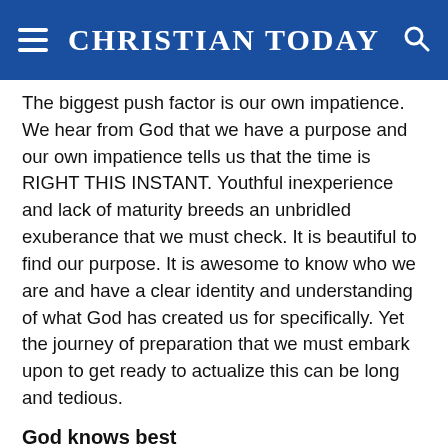CHRISTIAN TODAY
The biggest push factor is our own impatience. We hear from God that we have a purpose and our own impatience tells us that the time is RIGHT THIS INSTANT. Youthful inexperience and lack of maturity breeds an unbridled exuberance that we must check. It is beautiful to find our purpose. It is awesome to know who we are and have a clear identity and understanding of what God has created us for specifically. Yet the journey of preparation that we must embark upon to get ready to actualize this can be long and tedious.
God knows best
When God holds us back and detains us in the wilderness, it is with the specific intention of allowing us the necessary